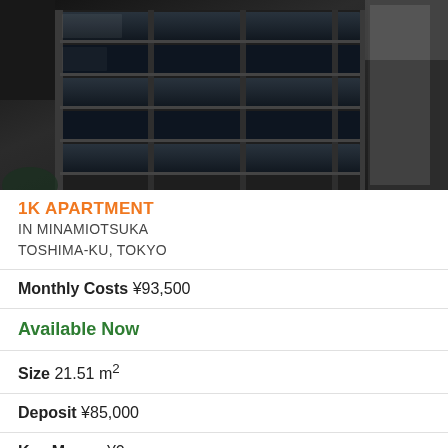[Figure (photo): Exterior photo of a modern multi-story apartment building in Tokyo, shot from a low angle. The building has dark glass balconies and a white/grey facade. The image is dark and moody.]
1K APARTMENT IN MINAMIOTSUKA TOSHIMA-KU, TOKYO
Monthly Costs ¥93,500
Available Now
Size 21.51 m²
Deposit ¥85,000
Key Money ¥0
Floor 9 / 12F